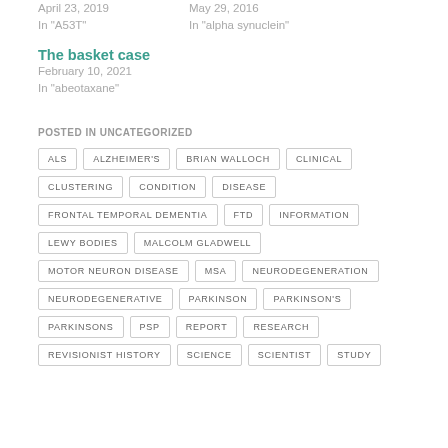April 23, 2019
In "A53T"
May 29, 2016
In "alpha synuclein"
The basket case
February 10, 2021
In "abeotaxane"
POSTED IN UNCATEGORIZED
ALS
ALZHEIMER'S
BRIAN WALLOCH
CLINICAL
CLUSTERING
CONDITION
DISEASE
FRONTAL TEMPORAL DEMENTIA
FTD
INFORMATION
LEWY BODIES
MALCOLM GLADWELL
MOTOR NEURON DISEASE
MSA
NEURODEGENERATION
NEURODEGENERATIVE
PARKINSON
PARKINSON'S
PARKINSONS
PSP
REPORT
RESEARCH
REVISIONIST HISTORY
SCIENCE
SCIENTIST
STUDY